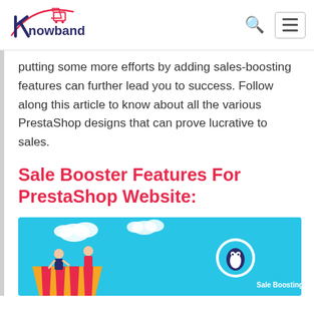Knowband
putting some more efforts by adding sales-boosting features can further lead you to success. Follow along this article to know about all the various PrestaShop designs that can prove lucrative to sales.
Sale Booster Features For PrestaShop Website:
[Figure (illustration): Blue banner image showing Sale Boosting Design For A PrestaShop website illustration with cartoon characters and a PrestaShop logo mascot]